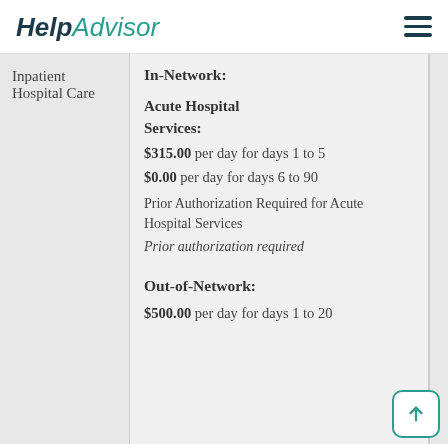HelpAdvisor
| Service | Cost Details |
| --- | --- |
| Inpatient Hospital Care | In-Network:

Acute Hospital Services:
$315.00 per day for days 1 to 5
$0.00 per day for days 6 to 90
Prior Authorization Required for Acute Hospital Services
Prior authorization required

Out-of-Network:
$500.00 per day for days 1 to 20 |